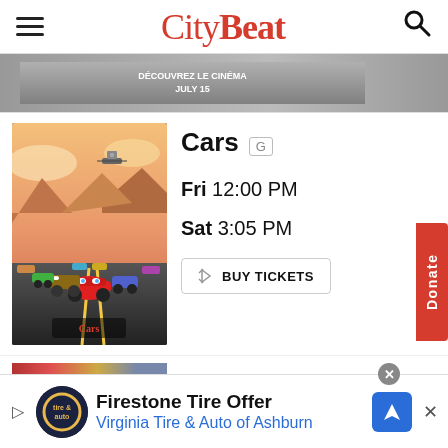CityBeat
[Figure (photo): Partial banner image, likely movie advertisement with dark gray background and text 'JULY 15']
[Figure (photo): Movie poster for 'Cars' (Pixar/Disney animated film) showing animated car characters on a road with desert landscape background]
Cars G
Fri 12:00 PM
Sat 3:05 PM
BUY TICKETS
DC League of Super-Pets
[Figure (screenshot): Advertisement: Firestone Tire Offer - Virginia Tire & Auto of Ashburn, with tire and auto logo and navigation arrow icon]